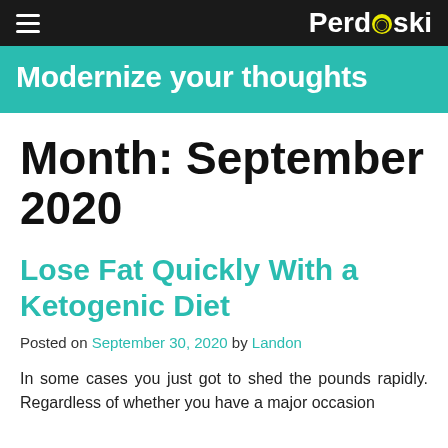Perdoski — Modernize your thoughts
Month: September 2020
Lose Fat Quickly With a Ketogenic Diet
Posted on September 30, 2020 by Landon
In some cases you just got to shed the pounds rapidly. Regardless of whether you have a major occasion